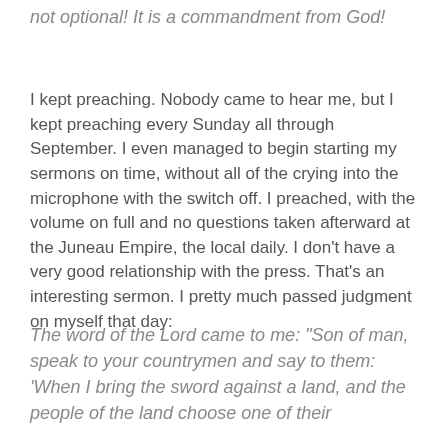There's no exception. It's just your job. It's not optional! It is a commandment from God!
I kept preaching. Nobody came to hear me, but I kept preaching every Sunday all through September. I even managed to begin starting my sermons on time, without all of the crying into the microphone with the switch off. I preached, with the volume on full and no questions taken afterward at the Juneau Empire, the local daily. I don't have a very good relationship with the press. That's an interesting sermon. I pretty much passed judgment on myself that day:
The word of the Lord came to me: “Son of man, speak to your countrymen and say to them: ‘When I bring the sword against a land, and the people of the land choose one of their